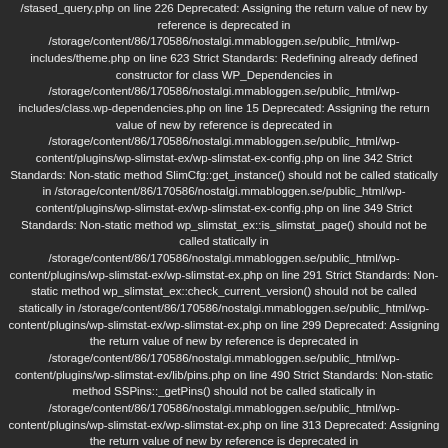/stased_query.php on line 226 Deprecated: Assigning the return value of new by reference is deprecated in /storage/content/86/170586/nostalgi.mmabloggen.se/public_html/wp-includes/theme.php on line 623 Strict Standards: Redefining already defined constructor for class WP_Dependencies in /storage/content/86/170586/nostalgi.mmabloggen.se/public_html/wp-includes/class.wp-dependencies.php on line 15 Deprecated: Assigning the return value of new by reference is deprecated in /storage/content/86/170586/nostalgi.mmabloggen.se/public_html/wp-content/plugins/wp-slimstat-ex/wp-slimstat-ex-config.php on line 342 Strict Standards: Non-static method SlimCfg::get_instance() should not be called statically in /storage/content/86/170586/nostalgi.mmabloggen.se/public_html/wp-content/plugins/wp-slimstat-ex/wp-slimstat-ex-config.php on line 349 Strict Standards: Non-static method wp_slimstat_ex::is_slimstat_page() should not be called statically in /storage/content/86/170586/nostalgi.mmabloggen.se/public_html/wp-content/plugins/wp-slimstat-ex/wp-slimstat-ex.php on line 291 Strict Standards: Non-static method wp_slimstat_ex::check_current_version() should not be called statically in /storage/content/86/170586/nostalgi.mmabloggen.se/public_html/wp-content/plugins/wp-slimstat-ex/wp-slimstat-ex.php on line 299 Deprecated: Assigning the return value of new by reference is deprecated in /storage/content/86/170586/nostalgi.mmabloggen.se/public_html/wp-content/plugins/wp-slimstat-ex/lib/pins.php on line 490 Strict Standards: Non-static method SSPins::_getPins() should not be called statically in /storage/content/86/170586/nostalgi.mmabloggen.se/public_html/wp-content/plugins/wp-slimstat-ex/wp-slimstat-ex.php on line 313 Deprecated: Assigning the return value of new by reference is deprecated in /storage/content/86/170586/nostalgi.mmabloggen.se/public_html/wp-content/plugins/wp-slimstat-ex/lib/track.php on line 1002 Strict Standards: